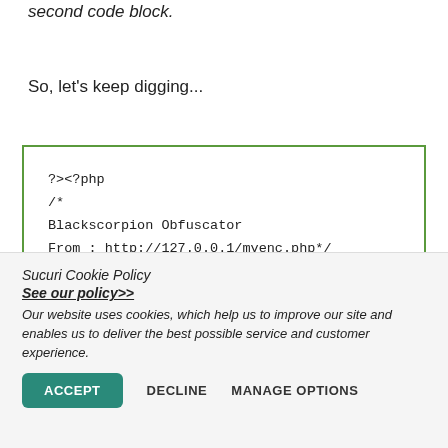second code block.
So, let's keep digging...
?><?php
/*
Blackscorpion Obfuscator
From : http://127.0.0.1/myenc.php*/

$error = "error_reporting";
Sucuri Cookie Policy
See our policy>>
Our website uses cookies, which help us to improve our site and enables us to deliver the best possible service and customer experience.
ACCEPT  DECLINE  MANAGE OPTIONS